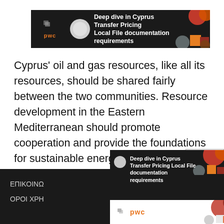[Figure (other): PwC advertisement banner: 'Deep dive in Cyprus Transfer Pricing Local File documentation requirements' on dark background with colorful circular design elements]
Cyprus' oil and gas resources, like all its resources, should be shared fairly between the two communities. Resource development in the Eastern Mediterranean should promote cooperation and provide the foundations for sustainable energy security and economic prosperity across the region."
cna
[Figure (other): Close button overlay element]
ΕΠΙΚΟΙΝΩ... ΟΡΟΙ ΧΡΗ...
[Figure (other): PwC advertisement popup: 'Deep dive in Cyprus Transfer Pricing Local File documentation requirements' on dark background with circular design and PwC logo]